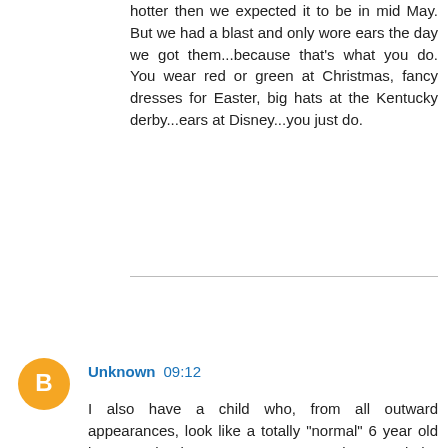hotter then we expected it to be in mid May. But we had a blast and only wore ears the day we got them...because that's what you do. You wear red or green at Christmas, fancy dresses for Easter, big hats at the Kentucky derby...ears at Disney...you just do.
Reply
Unknown 09:12
I also have a child who, from all outward appearances, look like a totally "normal" 6 year old boy. But he isn't. We get stares, glares and the occassional comment from "well meaning" parents. Disney World is not one of the places I would take him (we went when he was 11 months old. My Dad works there, we get in for free thankfully because we weren't there long)because I know he can't handle it. I think the pin is a good idea for parents who would want to bring their kids. The only tricky part would be being able to "prove" the child has some sort of issue.